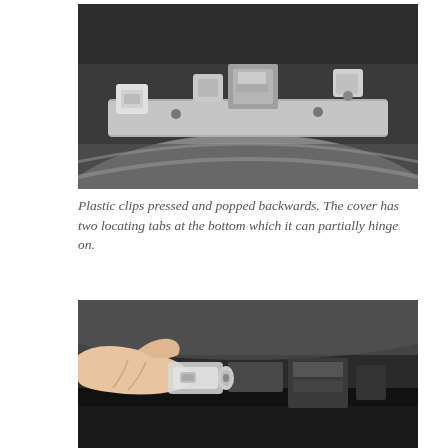[Figure (photo): Close-up photograph of plastic clips on a vehicle fuse box or relay cover, showing the clips pressed and popped backwards. The grey plastic cover with two locating tabs is partially visible.]
Plastic clips pressed and popped backwards. The cover has two locating tabs at the bottom which it can partially hinge on.
[Figure (photo): Close-up photograph of a hand (fingers visible) holding a transparent/clear plastic clip or connector being removed from a vehicle component. The background shows dark vehicle engine bay parts.]